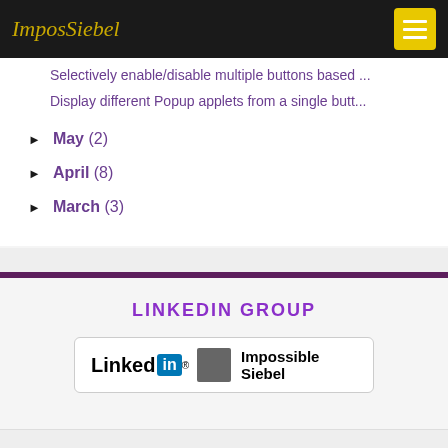ImposSiebel
Selectively enable/disable multiple buttons based ...
Display different Popup applets from a single butt...
► May (2)
► April (8)
► March (3)
LINKEDIN GROUP
[Figure (logo): LinkedIn banner with 'Linked in® [group image] Impossible Siebel']